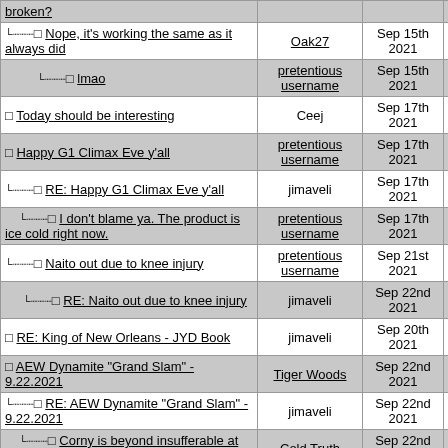| Title | User | Date | # |
| --- | --- | --- | --- |
| broken? |  |  |  |
| Nope, it's working the same as it always did | Oak27 | Sep 15th 2021 | 141 |
| lmao | pretentious username | Sep 15th 2021 | 143 |
| Today should be interesting | Ceej | Sep 17th 2021 | 144 |
| Happy G1 Climax Eve y'all | pretentious username | Sep 17th 2021 | 145 |
| RE: Happy G1 Climax Eve y'all | jimaveli | Sep 17th 2021 | 146 |
| I don't blame ya. The product is ice cold right now. | pretentious username | Sep 17th 2021 | 147 |
| Naito out due to knee injury | pretentious username | Sep 21st 2021 | 149 |
| RE: Naito out due to knee injury | jimaveli | Sep 22nd 2021 | 151 |
| RE: King of New Orleans - JYD Book | jimaveli | Sep 20th 2021 | 148 |
| AEW Dynamite "Grand Slam" - 9.22.2021 | Tiger Woods | Sep 22nd 2021 | 150 |
| RE: AEW Dynamite "Grand Slam" - 9.22.2021 | jimaveli | Sep 22nd 2021 | 152 |
| Corny is beyond insufferable at this point | Cold Truth | Sep 22nd 2021 | 154 |
| If he sticks to older stuff, he's still on point. | mrhood75 ok | Sep 22nd 2021 | 156 |
| RE: If he sticks to older stuff, he's still on point. | jimaveli | Sep 22nd 2021 | 157 |